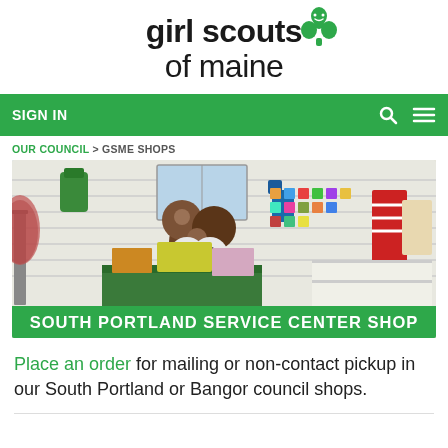[Figure (logo): Girl Scouts of Maine logo with trefoil symbol in green above the text 'girl scouts of maine']
SIGN IN
OUR COUNCIL > GSME SHOPS
[Figure (photo): Interior of South Portland Service Center Shop showing merchandise displays, stuffed animals, badges, bags, and scout supplies on shelves and racks. Green banner overlay reads: SOUTH PORTLAND SERVICE CENTER SHOP]
Place an order for mailing or non-contact pickup in our South Portland or Bangor council shops.